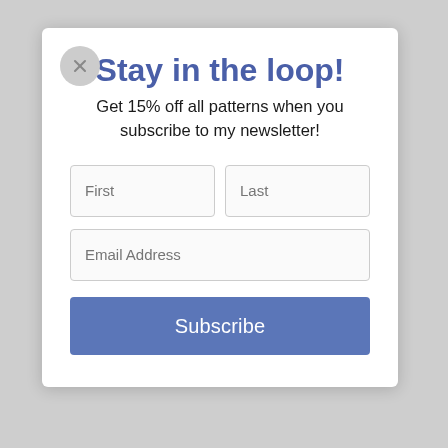Stay in the loop!
Get 15% off all patterns when you subscribe to my newsletter!
[Figure (screenshot): Newsletter signup modal form with First, Last, Email Address fields and a Subscribe button]